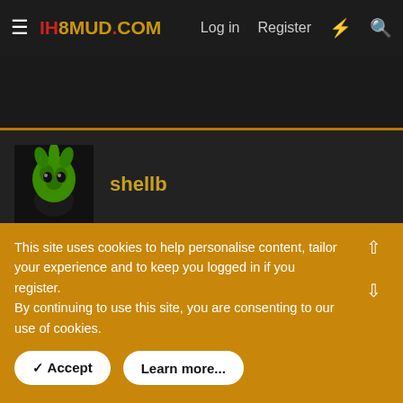IH8MUD.COM   Log in   Register
shellb
Feb 21, 2022   #6
That tartan interior is mint! Reminds me of my old 911 r gruppe!
This site uses cookies to help personalise content, tailor your experience and to keep you logged in if you register.
By continuing to use this site, you are consenting to our use of cookies.
✓ Accept   Learn more...